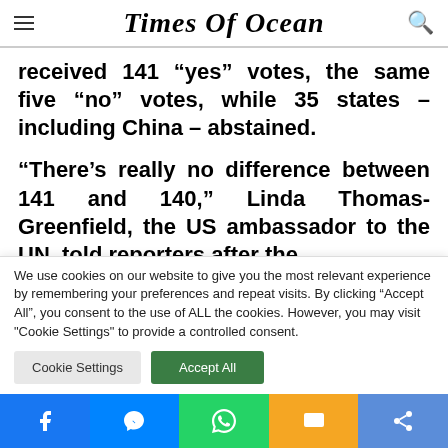Times Of Ocean
received 141 “yes” votes, the same five “no” votes, while 35 states – including China – abstained.
“There’s really no difference between 141 and 140,” Linda Thomas-Greenfield, the US ambassador to the UN, told reporters after the
We use cookies on our website to give you the most relevant experience by remembering your preferences and repeat visits. By clicking “Accept All”, you consent to the use of ALL the cookies. However, you may visit "Cookie Settings" to provide a controlled consent.